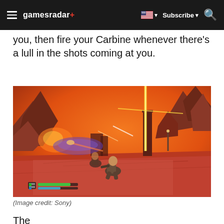gamesradar+ [navigation bar with hamburger menu, flag/region selector, Subscribe, and search]
you, then fire your Carbine whenever there's a lull in the shots coming at you.
[Figure (screenshot): A video game screenshot showing a third-person action scene on a reddish-orange alien landscape. A character is crouching/crawling on a flat surface. Yellow laser beams and explosions are visible in the background. Rocky terrain and towers are in the distance. HUD elements including health bars are visible in the bottom-left corner.]
(Image credit: Sony)
The...